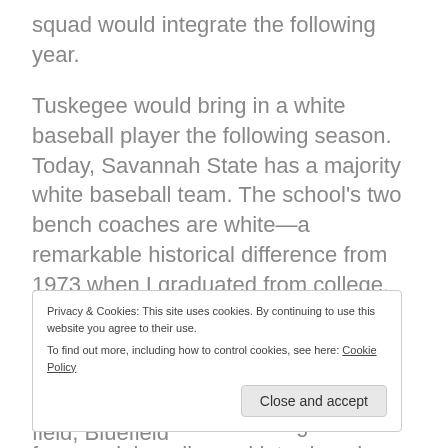squad would integrate the following year.
Tuskegee would bring in a white baseball player the following season. Today, Savannah State has a majority white baseball team. The school's two bench coaches are white—a remarkable historical difference from 1973 when I graduated from college.
As the two teams took the field for the National Anthem, I had not found the story. Then a mother of a Black high school student-athlete recognized me from social media, and introduced herself. In talking
Privacy & Cookies: This site uses cookies. By continuing to use this website you agree to their use. To find out more, including how to control cookies, see here: Cookie Policy
surveyed the two opponents on the field, Bluefield